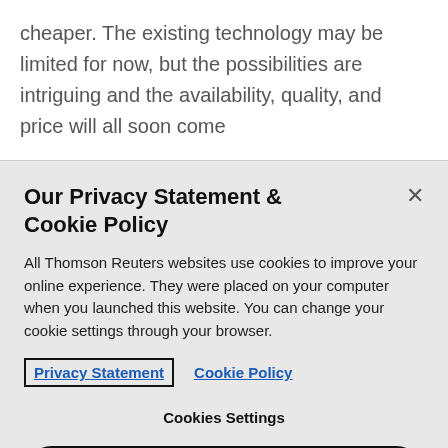cheaper. The existing technology may be limited for now, but the possibilities are intriguing and the availability, quality, and price will all soon come
Our Privacy Statement & Cookie Policy
All Thomson Reuters websites use cookies to improve your online experience. They were placed on your computer when you launched this website. You can change your cookie settings through your browser.
Privacy Statement   Cookie Policy
Cookies Settings
Accept All Cookies